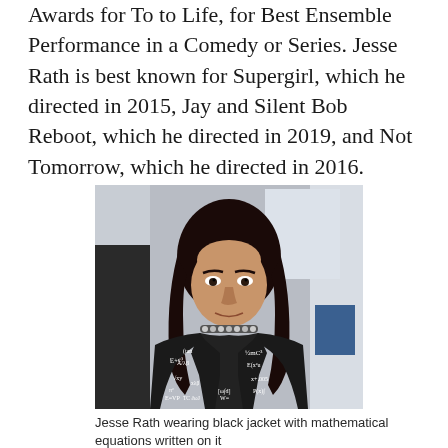Awards for To to Life, for Best Ensemble Performance in a Comedy or Series. Jesse Rath is best known for Supergirl, which he directed in 2015, Jay and Silent Bob Reboot, which he directed in 2019, and Not Tomorrow, which he directed in 2016.
[Figure (photo): Jesse Rath wearing a black leather jacket with mathematical equations written all over it, standing indoors. He has long dark hair and is wearing a beaded necklace.]
Jesse Rath wearing black jacket with mathematical equations written on it